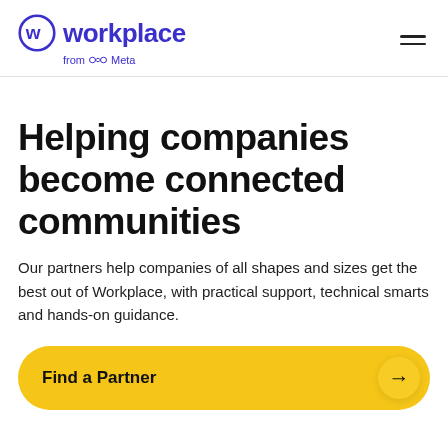workplace from Meta
Helping companies become connected communities
Our partners help companies of all shapes and sizes get the best out of Workplace, with practical support, technical smarts and hands-on guidance.
Find a Partner →